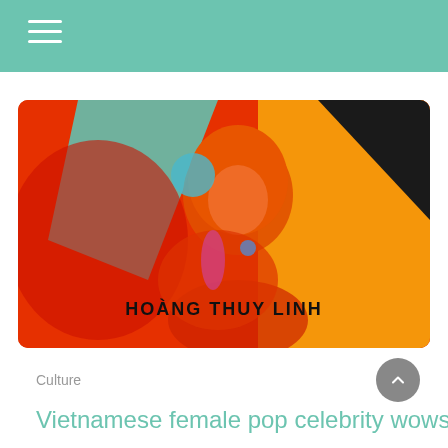[Figure (photo): Colorful artistic promotional photo of Hoang Thuy Linh, a Vietnamese female pop celebrity, with orange-red hair, against a vivid red-orange and yellow background with teal geometric shapes. Text overlay reads HOANG THUY LINH in bold black letters.]
Culture
Vietnamese female pop celebrity wows